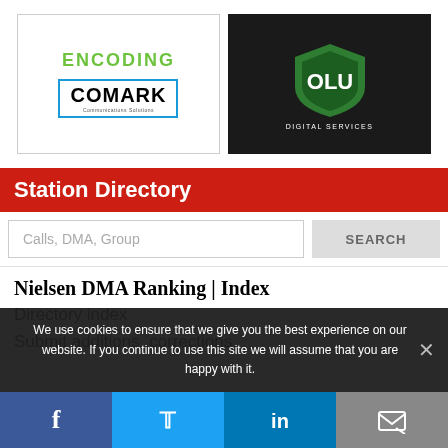[Figure (logo): Ad banner with ENCODING text (green), COMARK logo (blue border), and OLU Digital Services shield logo on dark background]
Station Directory
Calls, DMA, Group
SEARCH
Nielsen DMA Ranking | Index
Directory index
Submit additions, corrections
We use cookies to ensure that we give you the best experience on our website. If you continue to use this site we will assume that you are happy with it.
[Figure (other): Social media footer bar with Facebook, Twitter, LinkedIn, and email icons]